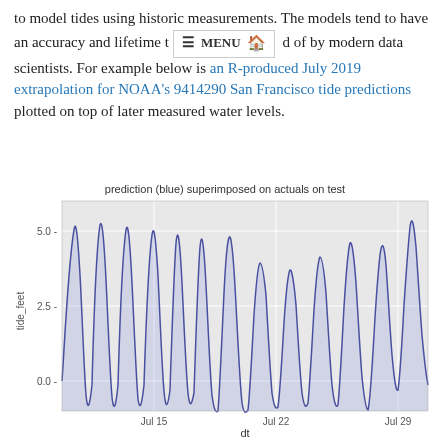to model tides using historic measurements. The models tend to have an accuracy and lifetime that would be envied of by modern data scientists. For example below is an R-produced July 2019 extrapolation for NOAA's 9414290 San Francisco tide predictions plotted on top of later measured water levels.
[Figure (continuous-plot): Line chart showing tide predictions (blue) superimposed on actuals over test period from Jul 15 to Jul 29+. Y-axis shows tide_feet with ticks at 0.0, 2.5, 5.0. X-axis shows dates Jul 15, Jul 22, Jul 29.]